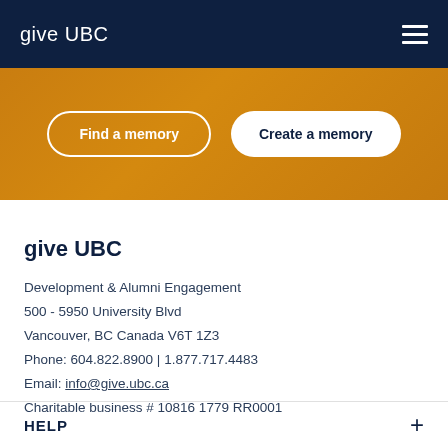give UBC
[Figure (other): Orange banner with two buttons: 'Find a memory' (outline style) and 'Create a memory' (filled white style)]
give UBC
Development & Alumni Engagement
500 - 5950 University Blvd
Vancouver, BC Canada V6T 1Z3
Phone: 604.822.8900 | 1.877.717.4483
Email: info@give.ubc.ca
Charitable business # 10816 1779 RR0001
HELP